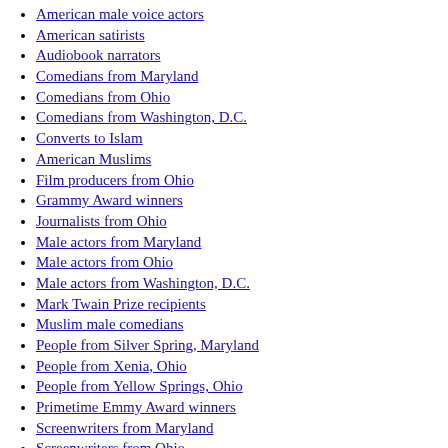American male voice actors
American satirists
Audiobook narrators
Comedians from Maryland
Comedians from Ohio
Comedians from Washington, D.C.
Converts to Islam
American Muslims
Film producers from Ohio
Grammy Award winners
Journalists from Ohio
Male actors from Maryland
Male actors from Ohio
Male actors from Washington, D.C.
Mark Twain Prize recipients
Muslim male comedians
People from Silver Spring, Maryland
People from Xenia, Ohio
People from Yellow Springs, Ohio
Primetime Emmy Award winners
Screenwriters from Maryland
Screenwriters from Ohio
Screenwriters from Washington, D.C.
Third Man Records artists